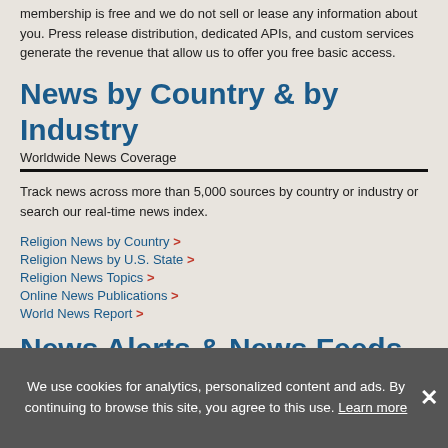membership is free and we do not sell or lease any information about you. Press release distribution, dedicated APIs, and custom services generate the revenue that allow us to offer you free basic access.
News by Country & by Industry
Worldwide News Coverage
Track news across more than 5,000 sources by country or industry or search our real-time news index.
Religion News by Country >
Religion News by U.S. State >
Religion News Topics >
Online News Publications >
World News Report >
News Alerts & News Feeds
Custom News Monitoring
We use cookies for analytics, personalized content and ads. By continuing to browse this site, you agree to this use. Learn more